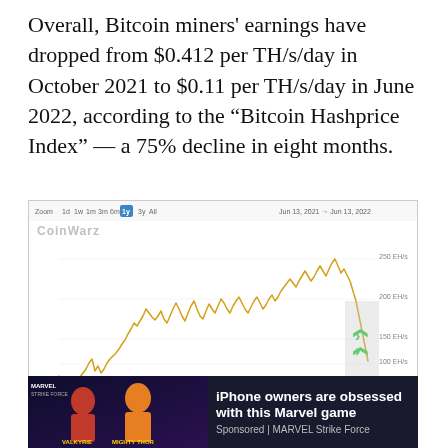Overall, Bitcoin miners' earnings have dropped from $0.412 per TH/s/day in October 2021 to $0.11 per TH/s/day in June 2022, according to the “Bitcoin Hashprice Index” — a 75% decline in eight months.
[Figure (continuous-plot): Line chart from CoinWarz showing Bitcoin hash rate from Jul '21 to Jun '22. The line starts low around 60-70 EH/s in Jul '21, rises with volatility through 2021, peaks near 250 EH/s in late Apr/May '22, then drops sharply. X-axis labels: Jul '21, Aug '21, Sep '21, Oct '21, Nov '21, Dec '21, Jan '22, Feb '22, Mar '22, Apr '22, May '22, Jun '22. Y-axis labels: 50 EH/s, 100 EH/s, 150 EH/s, 200 EH/s, 250 EH/s. Date range shown: Jun 13, 2021 - Jun 13, 2022.]
[Figure (infographic): Advertisement banner for MARVEL Strike Force mobile game. Dark background with illustrations of Valkyrie and Mighty Thor characters. Text: 'iPhone owners are obsessed with this Marvel game'. Sponsored by MARVEL Strike Force.]